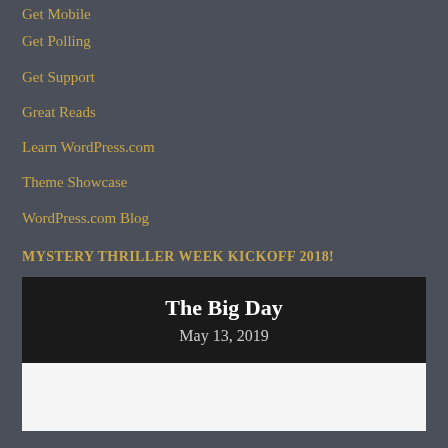Get Mobile
Get Polling
Get Support
Great Reads
Learn WordPress.com
Theme Showcase
WordPress.com Blog
MYSTERY THRILLER WEEK KICKOFF 2018!
The Big Day
May 13, 2019